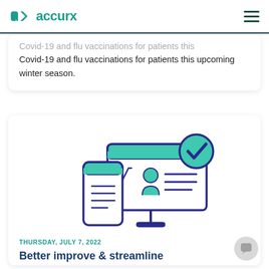accurx
Covid-19 and flu vaccinations for patients this upcoming winter season.
[Figure (illustration): Illustration of a smartphone and a desktop monitor displaying a patient profile with a green checkmark badge in the top right corner. The monitor shows a user icon with horizontal lines suggesting patient data. Both devices are drawn in a navy blue outline style with teal/green accent fills.]
THURSDAY, JULY 7, 2022
Better improve & streamline